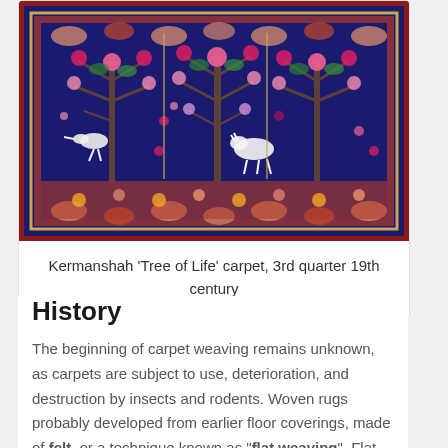[Figure (photo): Kerman 'Tree of Life' carpet showing intricate floral and animal motifs on a dark navy blue background with red border, 3rd quarter 19th century]
Kermanshah ‘Tree of Life’ carpet, 3rd quarter 19th century
History
The beginning of carpet weaving remains unknown, as carpets are subject to use, deterioration, and destruction by insects and rodents. Woven rugs probably developed from earlier floor coverings, made of felt, or a technique known as “flat weaving”. Flat-woven rugs are made by tightly interweaving the warp and weft strands of the weave to produce a flat surface with no pile. The